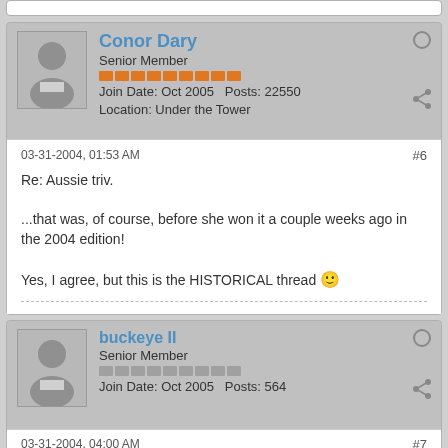[Figure (screenshot): Forum post card for user Conor Dary, Senior Member, Join Date Oct 2005, Posts 22550, Location Under the Tower]
03-31-2004, 01:53 AM
#6
Re: Aussie triv.

...that was, of course, before she won it a couple weeks ago in the 2004 edition!

Yes, I agree, but this is the HISTORICAL thread 🙂
[Figure (screenshot): Forum post card for user buckeye II, Senior Member, Join Date Oct 2005, Posts 564]
03-31-2004, 04:00 AM
#7